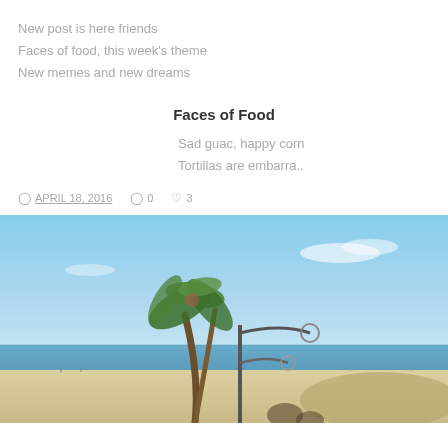New post is here friends
Faces of food, this week's theme
New memes and new dreams
Faces of Food
Sad guac, happy corn
Tortillas are embarra..
APRIL 18, 2016  0  3
[Figure (photo): Beach scene with palm trees, a street lamp, sandy beach, ocean water and blue sky. People visible in the distance.]